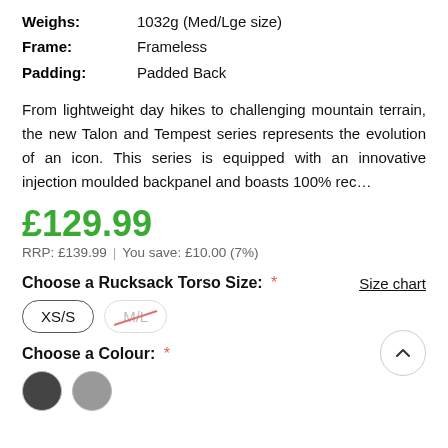Weighs: 1032g (Med/Lge size)
Frame: Frameless
Padding: Padded Back
From lightweight day hikes to challenging mountain terrain, the new Talon and Tempest series represents the evolution of an icon. This series is equipped with an innovative injection moulded backpanel and boasts 100% rec...
£129.99
RRP: £139.99  |  You save: £10.00 (7%)
Choose a Rucksack Torso Size: *
Size chart
XS/S
M/L (unavailable)
Choose a Colour: *